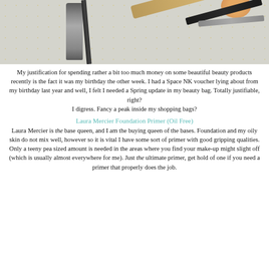[Figure (photo): Flat lay photo of makeup products including a foundation primer tube and makeup brushes on a white dotted background with gold speckles and an orange element in the corner.]
My justification for spending rather a bit too much money on some beautiful beauty products recently is the fact it was my birthday the other week. I had a Space NK voucher lying about from my birthday last year and well, I felt I needed a Spring update in my beauty bag. Totally justifiable, right?
I digress. Fancy a peak inside my shopping bags?
Laura Mercier Foundation Primer (Oil Free)
Laura Mercier is the base queen, and I am the buying queen of the bases. Foundation and my oily skin do not mix well, however so it is vital I have some sort of primer with good gripping qualities. Only a teeny pea sized amount is needed in the areas where you find your make-up might slight off (which is usually almost everywhere for me). Just the ultimate primer, get hold of one if you need a primer that properly does the job.